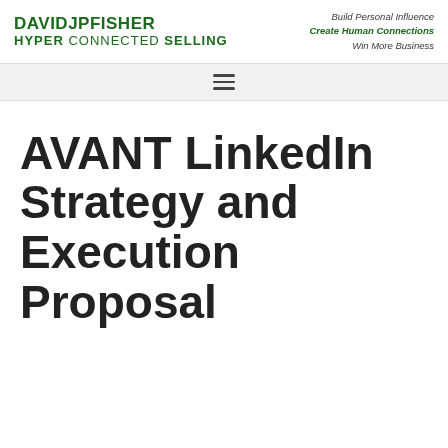DAVIDJPFISHER HYPER CONNECTED SELLING | Build Personal Influence • Create Human Connections • Win More Business
AVANT LinkedIn Strategy and Execution Proposal